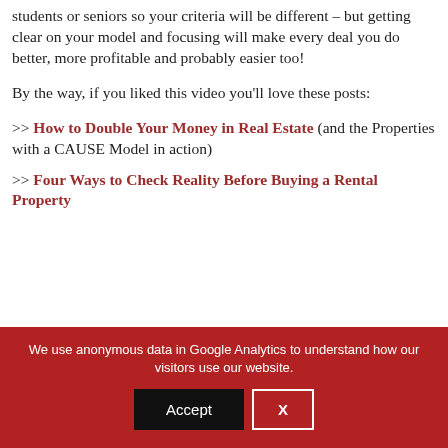students or seniors so your criteria will be different – but getting clear on your model and focusing will make every deal you do better, more profitable and probably easier too!
By the way, if you liked this video you'll love these posts:
>> How to Double Your Money in Real Estate (and the Properties with a CAUSE Model in action)
>> Four Ways to Check Reality Before Buying a Rental Property
We use anonymous data in Google Analytics to understand how our visitors use our website.